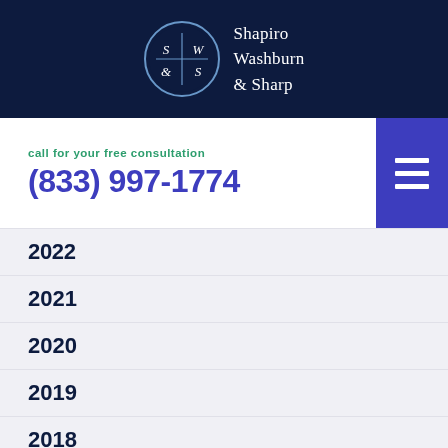Shapiro Washburn & Sharp
call for your free consultation
(833) 997-1774
2022
2021
2020
2019
2018
2017
2016
2015